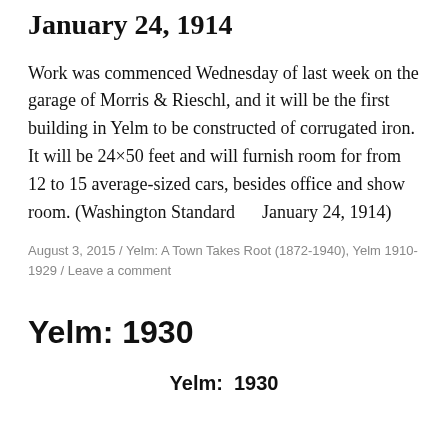January 24, 1914
Work was commenced Wednesday of last week on the garage of Morris & Rieschl, and it will be the first building in Yelm to be constructed of corrugated iron. It will be 24×50 feet and will furnish room for from 12 to 15 average-sized cars, besides office and show room. (Washington Standard     January 24, 1914)
August 3, 2015 / Yelm: A Town Takes Root (1872-1940), Yelm 1910-1929 / Leave a comment
Yelm: 1930
Yelm:  1930